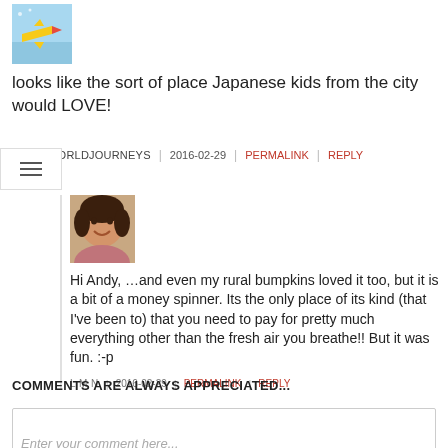[Figure (illustration): Small avatar image of a cartoon airplane on a colorful background]
looks like the sort of place Japanese kids from the city would LOVE!
ANDYSWORLDJOURNEYS | 2016-02-29 | PERMALINK | REPLY
[Figure (photo): Profile photo of a woman with dark hair smiling]
Hi Andy, …and even my rural bumpkins loved it too, but it is a bit of a money spinner. Its the only place of its kind (that I've been to) that you need to pay for pretty much everything other than the fresh air you breathe!! But it was fun. :-p
L M N | 2016-02-29 | PERMALINK | REPLY
COMMENTS ARE ALWAYS APPRECIATED...
Enter your comment here...